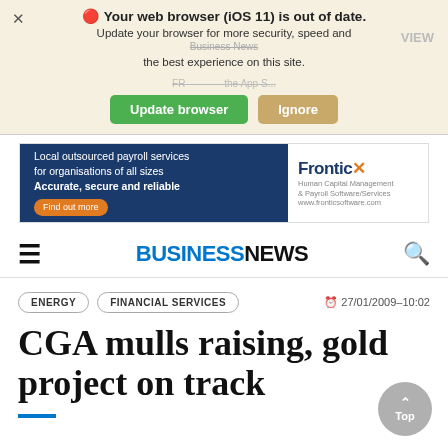Your web browser (iOS 11) is out of date. Update your browser for more security, speed and the best experience on this site. Update browser | Ignore
[Figure (infographic): Advertisement banner for Frontic payroll services: 'Local outsourced payroll services for organisations of all sizes Accurate, secure and reliable. Find out more']
BUSINESS NEWS
ENERGY   FINANCIAL SERVICES   27/01/2009 - 10:02
CGA mulls raising, gold project on track